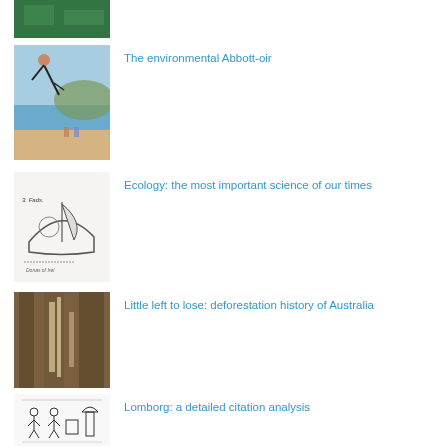[Figure (photo): Partial top-cropped image showing green textured background (top of page, partially visible)]
[Figure (illustration): Colorful painting/illustration showing a person diving or jumping near a coastal/beach scene]
The environmental Abbott-oir
[Figure (illustration): Sketch/line drawing of a boat or vessel with handwritten-style annotations]
Ecology: the most important science of our times
[Figure (photo): Photo of tree bark or forest with pale fungal or lichen growths visible]
Little left to lose: deforestation history of Australia
[Figure (illustration): Simple line drawing/cartoon of human figures with caption text below]
Lomborg: a detailed citation analysis